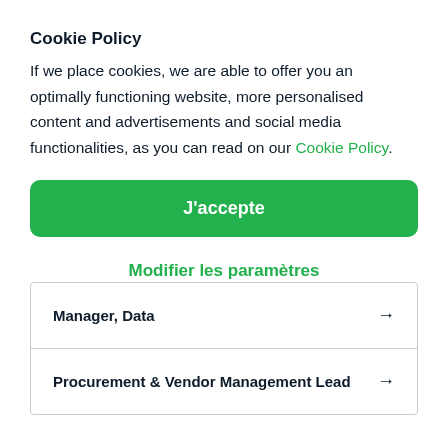Cookie Policy
If we place cookies, we are able to offer you an optimally functioning website, more personalised content and advertisements and social media functionalities, as you can read on our Cookie Policy.
J'accepte
Modifier les paramètres
Manager, Data →
Procurement & Vendor Management Lead →